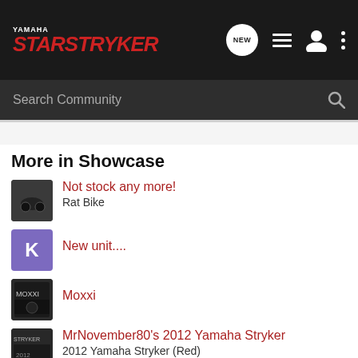YAMAHA STAR STRYKER — navigation header with logo and icons
Search Community
More in Showcase
Not stock any more! — Rat Bike
New unit....
Moxxi
MrNovember80's 2012 Yamaha Stryker — 2012 Yamaha Stryker (Red)
Way she goes — 2011 Yamaha Stryker (Raven)